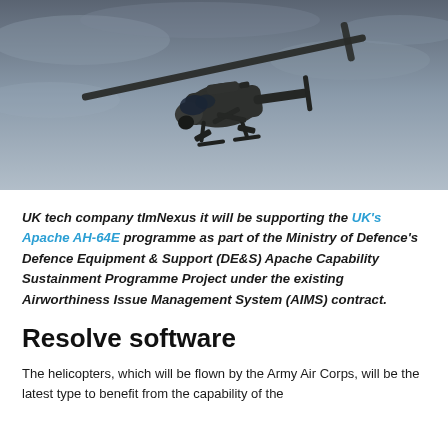[Figure (photo): An Apache AH-64E military attack helicopter photographed from below against an overcast grey sky, flying overhead with weapons systems visible.]
UK tech company tImNexus it will be supporting the UK's Apache AH-64E programme as part of the Ministry of Defence's Defence Equipment & Support (DE&S) Apache Capability Sustainment Programme Project under the existing Airworthiness Issue Management System (AIMS) contract.
Resolve software
The helicopters, which will be flown by the Army Air Corps, will be the latest type to benefit from the capability of the